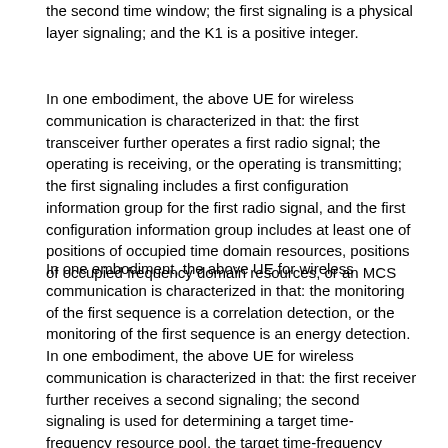the second time window; the first signaling is a physical layer signaling; and the K1 is a positive integer.
In one embodiment, the above UE for wireless communication is characterized in that: the first transceiver further operates a first radio signal; the operating is receiving, or the operating is transmitting; the first signaling includes a first configuration information group for the first radio signal, and the first configuration information group includes at least one of positions of occupied time domain resources, positions of occupied frequency domain resources, or an MCS
In one embodiment, the above UE for wireless communication is characterized in that: the monitoring of the first sequence is a correlation detection, or the monitoring of the first sequence is an energy detection.
In one embodiment, the above UE for wireless communication is characterized in that: the first receiver further receives a second signaling; the second signaling is used for determining a target time-frequency resource pool, the target time-frequency resource pool includes K2 target RE sets, any one of the K1 alternative RE set(s) is